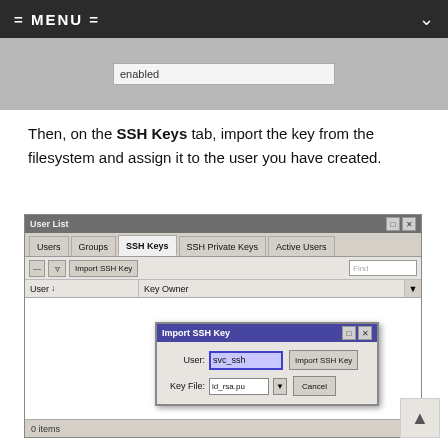[Figure (screenshot): Menu bar at top showing '= MENU =' text with dropdown chevron on dark background]
[Figure (screenshot): Partial screenshot showing an 'enabled' input field on gray background]
Then, on the SSH Keys tab, import the key from the filesystem and assign it to the user you have created.
[Figure (screenshot): User List window showing tabs: Users, Groups, SSH Keys (active), SSH Private Keys, Active Users. Import SSH Key dialog box overlaid showing User: svc_ssh and Key File: id_rsa.pub with Import SSH Key and Cancel buttons. 0 items shown in status bar.]